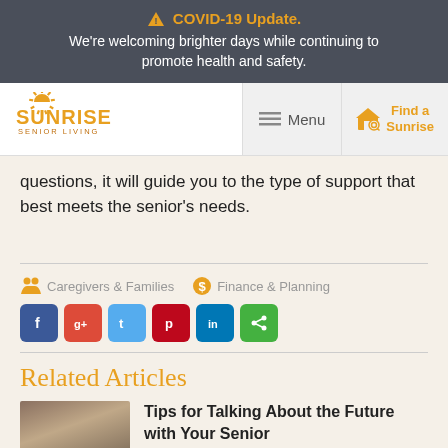COVID-19 Update. We're welcoming brighter days while continuing to promote health and safety.
[Figure (logo): Sunrise Senior Living logo with sun rays above text]
questions, it will guide you to the type of support that best meets the senior's needs.
Caregivers & Families   Finance & Planning
[Figure (other): Social media share icons: Facebook, Google+, Twitter, Pinterest, LinkedIn, Share]
Related Articles
Tips for Talking About the Future with Your Senior